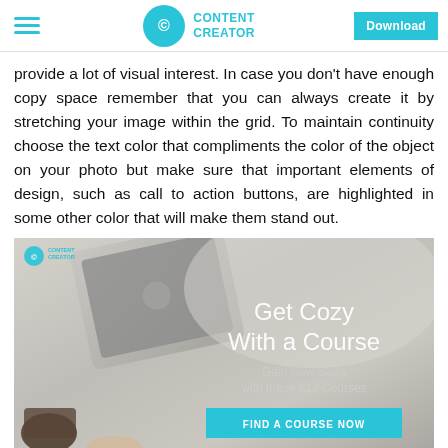Content Creator | Download
provide a lot of visual interest. In case you don't have enough copy space remember that you can always create it by stretching your image within the grid. To maintain continuity choose the text color that compliments the color of the object on your photo but make sure that important elements of design, such as call to action buttons, are highlighted in some other color that will make them stand out.
[Figure (illustration): Promotional banner image showing a laptop and coffee cup on a bed with overlay text 'Get Cozy With a Course — Gain New Skills with these $12 Courses' and a cyan 'FIND A COURSE NOW' button. Content Creator logo in upper left corner of image.]